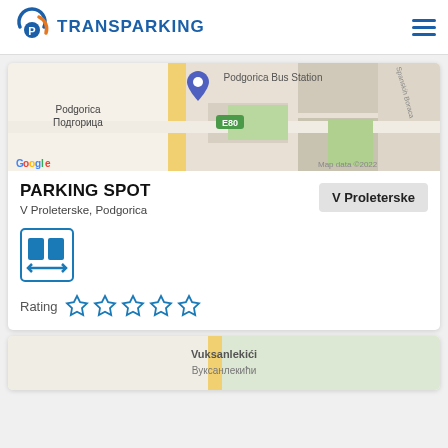TRANSPARKING
[Figure (map): Google Map showing Podgorica / Подгорица area near Podgorica Bus Station, with E80 highway, Map data ©2022]
PARKING SPOT
V Proleterske, Podgorica
V Proleterske
[Figure (infographic): Blue parking icon with double arrows indicating expandable/wide parking spot]
Rating ☆☆☆☆☆
[Figure (map): Google Map showing Vuksanlekići area, partially visible at bottom of page]